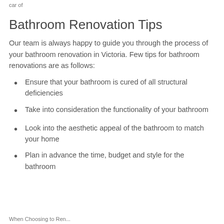car of
Bathroom Renovation Tips
Our team is always happy to guide you through the process of your bathroom renovation in Victoria. Few tips for bathroom renovations are as follows:
Ensure that your bathroom is cured of all structural deficiencies
Take into consideration the functionality of your bathroom
Look into the aesthetic appeal of the bathroom to match your home
Plan in advance the time, budget and style for the bathroom
When Choosing to Ren...